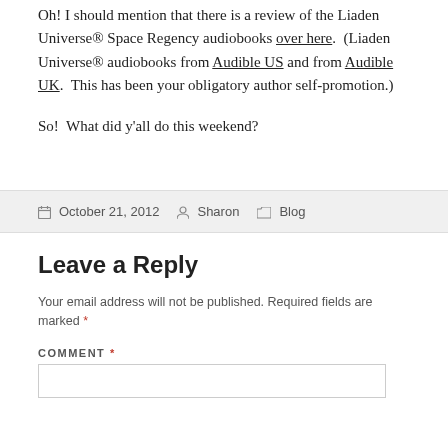Oh!  I should mention that there is a review of the Liaden Universe® Space Regency audiobooks over here.  (Liaden Universe® audiobooks from Audible US and from Audible UK.  This has been your obligatory author self-promotion.)
So!  What did y'all do this weekend?
October 21, 2012   Sharon   Blog
Leave a Reply
Your email address will not be published. Required fields are marked *
COMMENT *